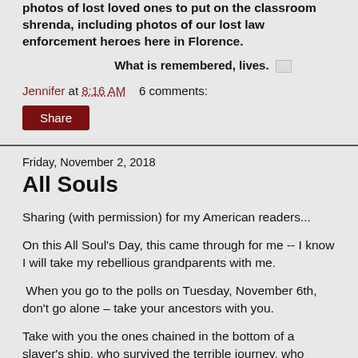photos of lost loved ones to put on the classroom shrenda, including photos of our lost law enforcement heroes here in Florence.
What is remembered, lives.
Jennifer at 8:16 AM    6 comments:
Share
Friday, November 2, 2018
All Souls
Sharing (with permission) for my American readers...
On this All Soul's Day, this came through for me -- I know I will take my rebellious grandparents with me.
When you go to the polls on Tuesday, November 6th, don't go alone – take your ancestors with you.
Take with you the ones chained in the bottom of a slaver's ship, who survived the terrible journey, who suffered the